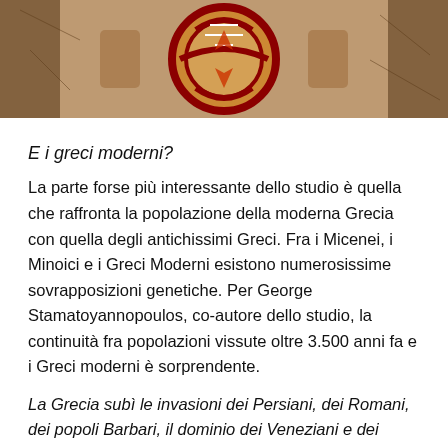[Figure (photo): Ancient Greek fresco or mosaic artwork showing decorative circular patterns with red, white, and brown/orange colors, partially visible at the top of the page]
E i greci moderni?
La parte forse più interessante dello studio è quella che raffronta la popolazione della moderna Grecia con quella degli antichissimi Greci. Fra i Micenei, i Minoici e i Greci Moderni esistono numerosissime sovrapposizioni genetiche. Per George Stamatoyannopoulos, co-autore dello studio, la continuità fra popolazioni vissute oltre 3.500 anni fa e i Greci moderni è sorprendente.
La Grecia subì le invasioni dei Persiani, dei Romani, dei popoli Barbari, il dominio dei Veneziani e dei Turchi Ottomani
Questo suggerisce che le componenti genetiche degli